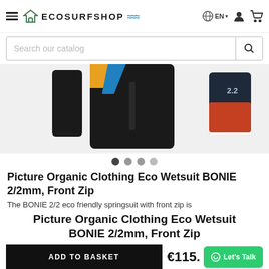ECOSURFSHOP
[Figure (screenshot): Product image of a black wetsuit (Picture Organic Clothing Eco Wetsuit BONIE 2/2mm, Front Zip) shown from multiple angles with carousel navigation dots]
Picture Organic Clothing Eco Wetsuit BONIE 2/2mm, Front Zip
The BONIE 2/2 eco friendly springsuit with front zip is
Picture Organic Clothing Eco Wetsuit BONIE 2/2mm, Front Zip
ADD TO BASKET   €115.  Let's Talk